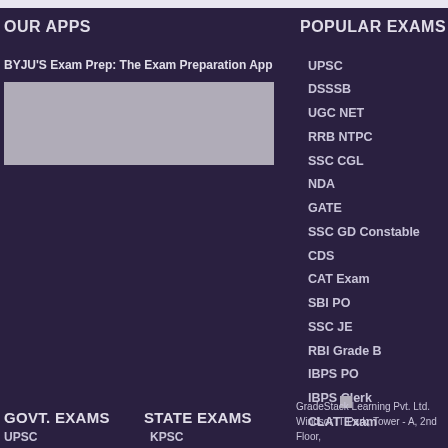OUR APPS
BYJU'S Exam Prep: The Exam Preparation App
[Figure (other): App screenshot placeholder - gray rectangle]
POPULAR EXAMS
UPSC
DSSSB
UGC NET
RRB NTPC
SSC CGL
NDA
GATE
SSC GD Constable
CDS
CAT Exam
SBI PO
SSC JE
RBI Grade B
IBPS PO
IBPS Clerk
CLAT Exam
GOVT. EXAMS
STATE EXAMS
UPSC
KPSC
GradeStack Learning Pvt. Ltd.
Windsor IT Park, Tower - A, 2nd Floor,